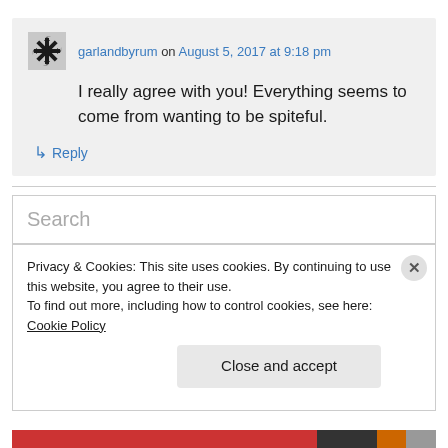garlandbyrum on August 5, 2017 at 9:18 pm
I really agree with you! Everything seems to come from wanting to be spiteful.
↳ Reply
Search
Privacy & Cookies: This site uses cookies. By continuing to use this website, you agree to their use.
To find out more, including how to control cookies, see here: Cookie Policy
Close and accept